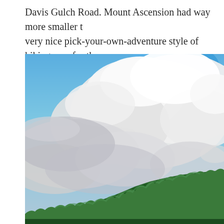Davis Gulch Road. Mount Ascension had way more smaller trails, very nice pick-your-own-adventure style of hiking area for th...
[Figure (photo): Outdoor landscape photograph showing a forested hillside with dense green trees in the lower portion, and a dramatic sky above filled with large billowing white and grey clouds against patches of blue sky.]